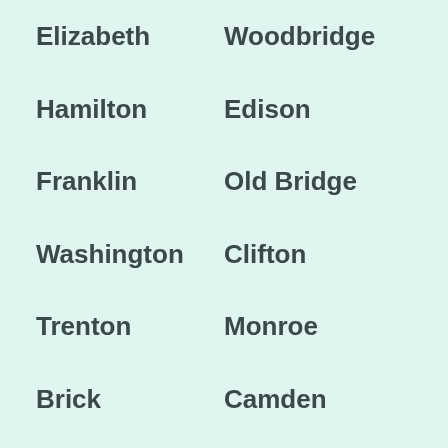Elizabeth
Woodbridge
Hamilton
Edison
Franklin
Old Bridge
Washington
Clifton
Trenton
Monroe
Brick
Camden
Cherry Hill
Passaic
Union City
Bayonne